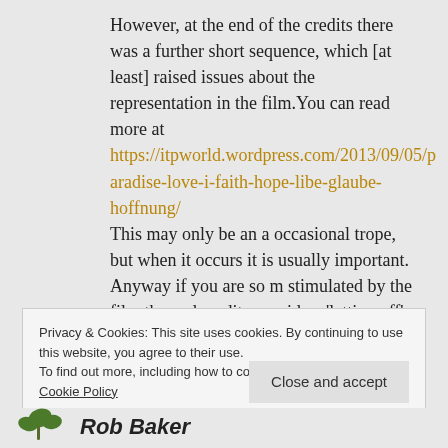However, at the end of the credits there was a further short sequence, which [at least] raised issues about the representation in the film.You can read more at https://itpworld.wordpress.com/2013/09/05/paradise-love-i-faith-hope-libe-glaube-hoffnung/ This may only be an a occasional trope, but when it occurs it is usually important. Anyway if you are so m stimulated by the film the end credits provide a 'letting off' period
Privacy & Cookies: This site uses cookies. By continuing to use this website, you agree to their use. To find out more, including how to control cookies, see here: Cookie Policy
Close and accept
Rob Baker